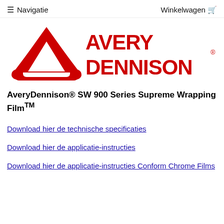≡ Navigatie   Winkelwagen 🛒
[Figure (logo): Avery Dennison logo — red triangular symbol with stylized A shape on left, red bold text AVERY DENNISON with registered trademark symbol on right]
AveryDennison® SW 900 Series Supreme Wrapping FilmTM
Download hier de technische specificaties
Download hier de applicatie-instructies
Download hier de applicatie-instructies Conform Chrome Films